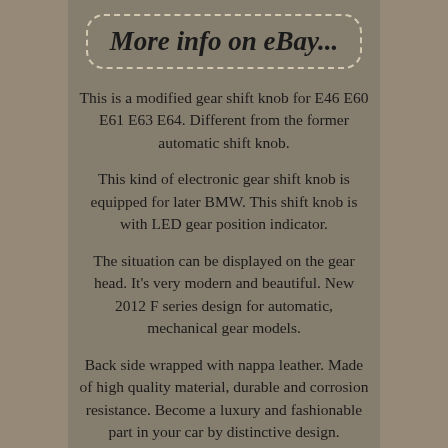More info on eBay...
This is a modified gear shift knob for E46 E60 E61 E63 E64. Different from the former automatic shift knob.
This kind of electronic gear shift knob is equipped for later BMW. This shift knob is with LED gear position indicator.
The situation can be displayed on the gear head. It's very modern and beautiful. New 2012 F series design for automatic, mechanical gear models.
Back side wrapped with nappa leather. Made of high quality material, durable and corrosion resistance. Become a luxury and fashionable part in your car by distinctive design.
Admirable workmanship, humanized automatic shift